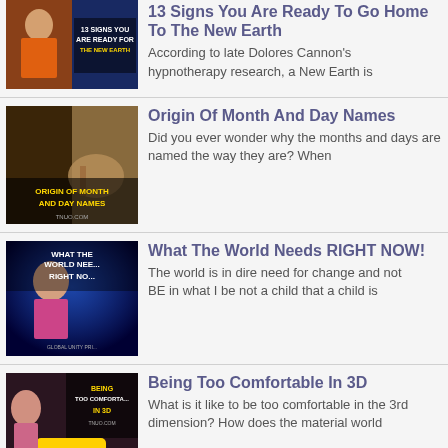[Figure (screenshot): Thumbnail for '13 Signs You Are Ready To Go Home To The New Earth']
13 Signs You Are Ready To Go Home To The New Earth
According to late Dolores Cannon's hypnotherapy research, a New Earth is
[Figure (screenshot): Thumbnail for 'Origin Of Month And Day Names']
Origin Of Month And Day Names
Did you ever wonder why the months and days are named the way they are? When
[Figure (screenshot): Thumbnail for 'What The World Needs RIGHT NOW!']
What The World Needs RIGHT NOW!
The world is in dire need for change and not BE in what I be not a child that a child is
[Figure (screenshot): Thumbnail for 'Being Too Comfortable In 3D']
Being Too Comfortable In 3D
What is it like to be too comfortable in the 3rd dimension? How does the material world
[Figure (screenshot): Thumbnail for 'Starseeds And Our Human Origins']
Starseeds And Our Human Origins
What is a star seed?  Better yet, who is a starseed?  If you trace the origins of human